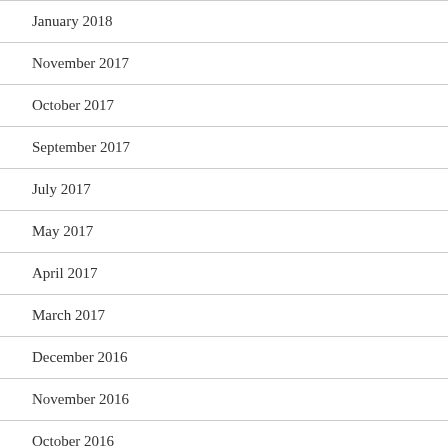January 2018
November 2017
October 2017
September 2017
July 2017
May 2017
April 2017
March 2017
December 2016
November 2016
October 2016